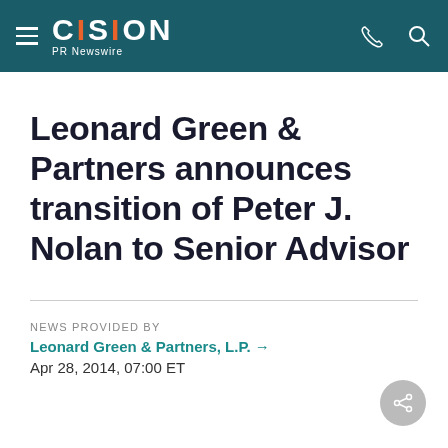CISION PR Newswire
Leonard Green & Partners announces transition of Peter J. Nolan to Senior Advisor
NEWS PROVIDED BY
Leonard Green & Partners, L.P. →
Apr 28, 2014, 07:00 ET